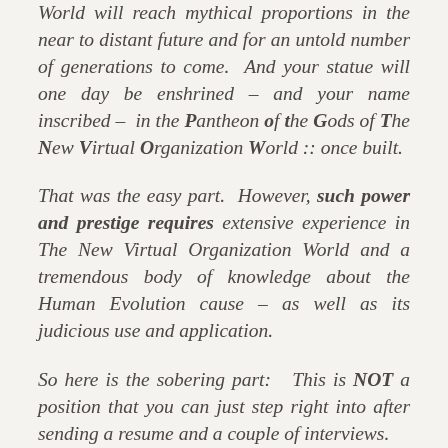World will reach mythical proportions in the near to distant future and for an untold number of generations to come.  And your statue will one day be enshrined – and your name inscribed –  in the Pantheon of the Gods of The New Virtual Organization World :: once built.

That was the easy part.  However, such power and prestige requires extensive experience in The New Virtual Organization World and a tremendous body of knowledge about the Human Evolution cause – as well as its judicious use and application.

So here is the sobering part:   This is NOT a position that you can just step right into after sending a resume and a couple of interviews.